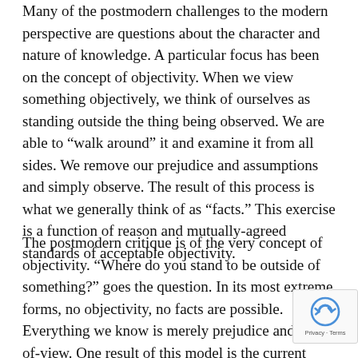Many of the postmodern challenges to the modern perspective are questions about the character and nature of knowledge. A particular focus has been on the concept of objectivity. When we view something objectively, we think of ourselves as standing outside the thing being observed. We are able to “walk around” it and examine it from all sides. We remove our prejudice and assumptions and simply observe. The result of this process is what we generally think of as “facts.” This exercise is a function of reason and mutually-agreed standards of acceptable objectivity.
The postmodern critique is of the very concept of objectivity. “Where do you stand to be outside of something?” goes the question. In its most extreme forms, no objectivity, no facts are possible. Everything we know is merely prejudice and point-of-view. One result of this model is the current point-of-view news reporting that the culture finds polarizing in the extreme. Orthodoxy